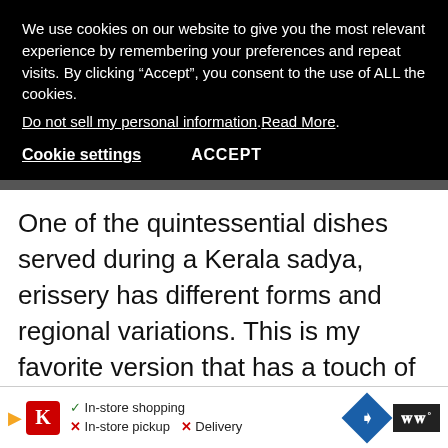We use cookies on our website to give you the most relevant experience by remembering your preferences and repeat visits. By clicking “Accept”, you consent to the use of ALL the cookies. Do not sell my personal information.Read More.
Cookie settings   ACCEPT
One of the quintessential dishes served during a Kerala sadya, erissery has different forms and regional variations. This is my favorite version that has a touch of sweetness from the use of butternut squash. Add spices & coconut to the equation and the result is an aromati accompaniment to your rice. Why wait for a
[Figure (screenshot): Advertisement bar with Kroger logo, in-store shopping/pickup/delivery options, navigation icon, and WW logo]